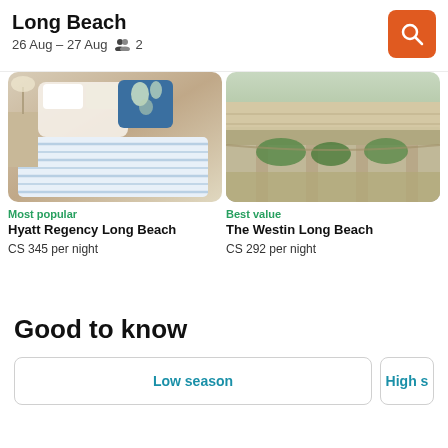Long Beach
26 Aug – 27 Aug  2
[Figure (photo): Hotel bedroom with white pillows and striped blue duvet, nightstand with lamp, blue floral pillow]
Most popular
Hyatt Regency Long Beach
CS 345 per night
[Figure (photo): The Westin Long Beach hotel exterior with modern architecture, concrete canopy, landscaped greenery]
Best value
The Westin Long Beach
CS 292 per night
Good to know
Low season
High s